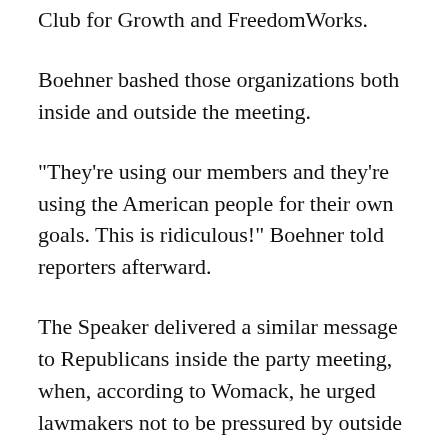Club for Growth and FreedomWorks.
Boehner bashed those organizations both inside and outside the meeting.
“They’re using our members and they’re using the American people for their own goals. This is ridiculous!” Boehner told reporters afterward.
The Speaker delivered a similar message to Republicans inside the party meeting, when, according to Womack, he urged lawmakers not to be pressured by outside activists.
“The Speaker was very clear: There is only one person who controls the voting cards of the member of Congress and that is the member of